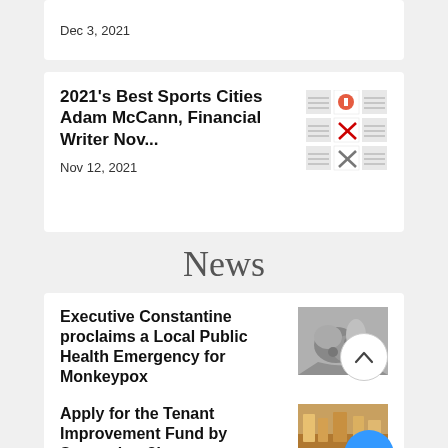Dec 3, 2021
2021's Best Sports Cities Adam McCann, Financial Writer Nov...
Nov 12, 2021
News
Executive Constantine proclaims a Local Public Health Emergency for Monkeypox
[Figure (photo): Black and white close-up photo of skin showing monkeypox symptoms]
Apply for the Tenant Improvement Fund by September 8!
[Figure (photo): Color photo of a market or restaurant interior]